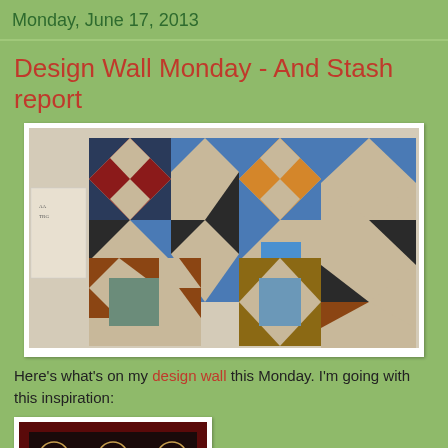Monday, June 17, 2013
Design Wall Monday - And Stash report
[Figure (photo): A quilt layout on a design wall showing multiple star and geometric patchwork blocks in blue, brown, red, tan, and teal fabrics arranged in a grid pattern.]
Here's what's on my design wall this Monday.  I'm going with this inspiration:
[Figure (photo): A dark red and black quilt with circular medallion patterns and geometric border designs, partially visible at the bottom of the page.]